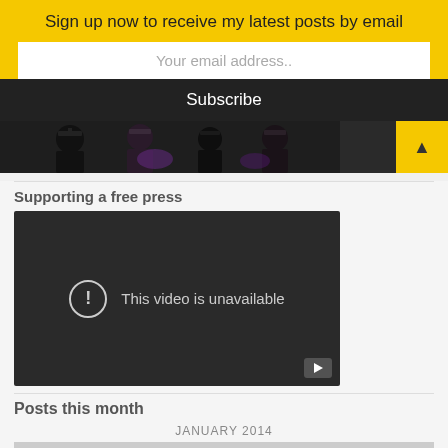Sign up now to receive my latest posts by email
Your email address..
Subscribe
[Figure (photo): Partial photo of graduates in black robes and mortarboards at a ceremony]
Supporting a free press
[Figure (screenshot): Embedded video player showing 'This video is unavailable' message with exclamation circle icon and play button]
Posts this month
JANUARY 2014